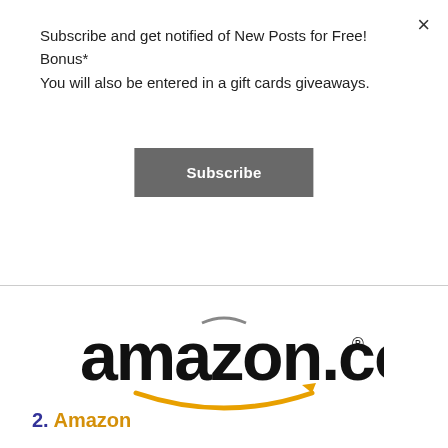Subscribe and get notified of New Posts for Free! Bonus* You will also be entered in a gift cards giveaways.
[Figure (other): Subscribe button — dark gray rectangular button with white bold text reading 'Subscribe']
[Figure (logo): Amazon.com logo with the characteristic smile arrow underneath, in black and orange/gold]
2. Amazon
In this day and age Amazon is a go-to place for 99 percent of purchases and there isn't something that might not find on there. Finding cheap textbooks on Amazon is just another option for anybody looking for a textbook if you want to buy, rent, or sell. I have used Amazon many times to purchase textbooks as well